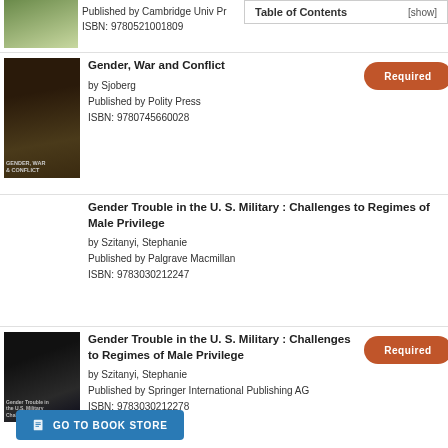Published by Cambridge Univ Pr
ISBN: 9780521001809
[Figure (other): Table of Contents box with [show] link]
[Figure (photo): Book cover for Gender, War and Conflict - military camouflage soldier]
Gender, War and Conflict
by Sjoberg
Published by Polity Press
ISBN: 9780745660028
Required
Gender Trouble in the U. S. Military : Challenges to Regimes of Male Privilege
by Szitanyi, Stephanie
Published by Palgrave Macmillan
ISBN: 9783030212247
Optional
[Figure (photo): Book cover for Gender Trouble in the U.S. Military - person with finger to lips]
Gender Trouble in the U. S. Military : Challenges to Regimes of Male Privilege
by Szitanyi, Stephanie
Published by Springer International Publishing AG
ISBN: 9783030212278
Required
GO TO BOOK STORE